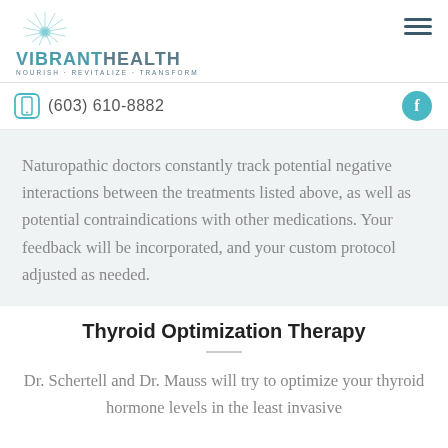[Figure (logo): Vibrant Health logo with sunburst graphic, text VIBRANTHEALTH and tagline NOURISH · REVITALIZE · TRANSFORM]
(603) 610-8882
Naturopathic doctors constantly track potential negative interactions between the treatments listed above, as well as potential contraindications with other medications. Your feedback will be incorporated, and your custom protocol adjusted as needed.
Thyroid Optimization Therapy
Dr. Schertell and Dr. Mauss will try to optimize your thyroid hormone levels in the least invasive